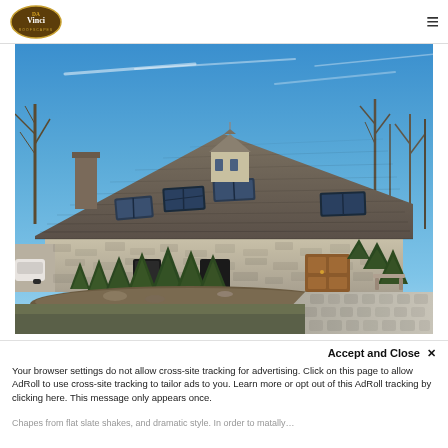DaVinci Roofscapes (logo) | hamburger menu
[Figure (photo): Exterior photograph of a stone cottage-style building with a steep cedar shake or slate roof featuring dormer skylights and a central cupola. Several conical evergreen shrubs are planted along the front. A cobblestone driveway is visible on the right side. Bare deciduous trees frame the background under a blue sky.]
Accept and Close ✕
Your browser settings do not allow cross-site tracking for advertising. Click on this page to allow AdRoll to use cross-site tracking to tailor ads to you. Learn more or opt out of this AdRoll tracking by clicking here. This message only appears once.